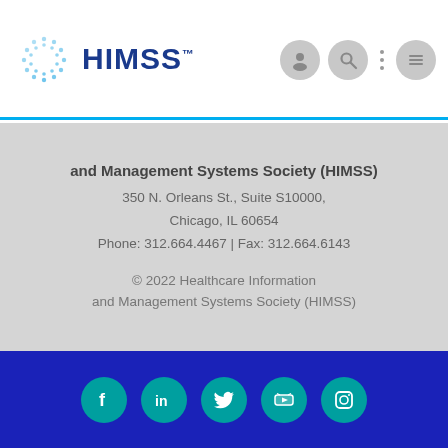[Figure (logo): HIMSS logo with circular dot pattern icon and bold blue HIMSS text]
[Figure (infographic): Navigation icons: user account circle, search circle, vertical dots, menu hamburger circle]
and Management Systems Society (HIMSS)
350 N. Orleans St., Suite S10000,
Chicago, IL 60654
Phone: 312.664.4467 | Fax: 312.664.6143
© 2022 Healthcare Information and Management Systems Society (HIMSS)
[Figure (infographic): Social media icons row on dark blue background: Facebook, LinkedIn, Twitter, YouTube, Instagram — all in teal circles]